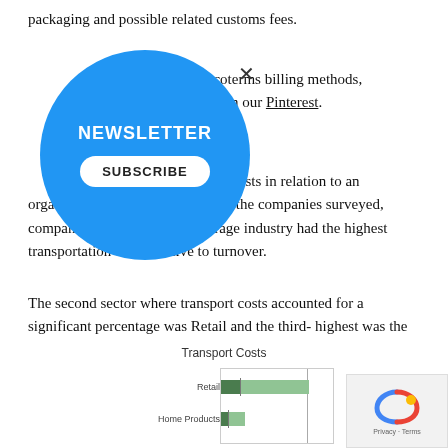packaging and possible related customs fees.
in Incoterms billing methods, saved on our Pinterest.
all transportation costs in relation to an organization's sales value. Among the companies surveyed, companies in the Food & Beverage industry had the highest transportation costs relative to turnover.
The second sector where transport costs accounted for a significant percentage was Retail and the third-highest was the Apparel & Accessories manufacturers segment.
[Figure (bar-chart): Horizontal bar chart showing Transport Costs by industry segment. Retail and Home Products rows visible, each with dark green and light green bars separated by a vertical line.]